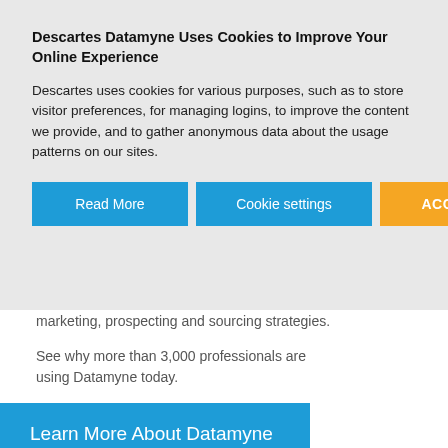Descartes Datamyne Uses Cookies to Improve Your Online Experience
Descartes uses cookies for various purposes, such as to store visitor preferences, for managing logins, to improve the content we provide, and to gather anonymous data about the usage patterns on our sites.
the information you need for successful marketing, prospecting and sourcing strategies.
See why more than 3,000 professionals are using Datamyne today.
Learn More About Datamyne